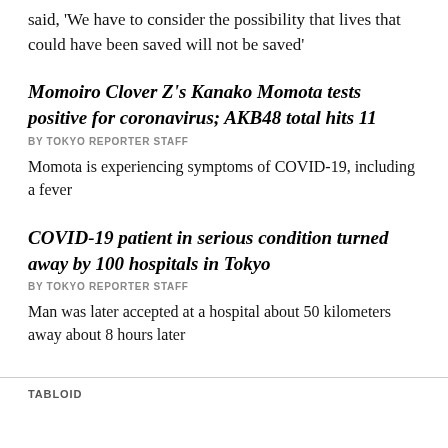said, 'We have to consider the possibility that lives that could have been saved will not be saved'
Momoiro Clover Z's Kanako Momota tests positive for coronavirus; AKB48 total hits 11
BY TOKYO REPORTER STAFF
Momota is experiencing symptoms of COVID-19, including a fever
COVID-19 patient in serious condition turned away by 100 hospitals in Tokyo
BY TOKYO REPORTER STAFF
Man was later accepted at a hospital about 50 kilometers away about 8 hours later
TABLOID